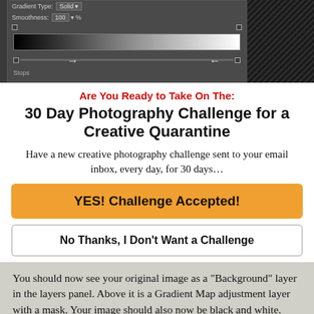[Figure (screenshot): Photoshop gradient editor panel showing Gradient Type: Solid, Smoothness: 100%, a black-to-white gradient bar, two slider handles on a track, and a Stops section. A black-and-white photo of trees is visible to the right.]
Are You Ready to Take On The:
30 Day Photography Challenge for a Creative Quarantine
Have a new creative photography challenge sent to your email inbox, every day, for 30 days...
YES! Challenge Accepted!
No Thanks, I Don't Want a Challenge
You should now see your original image as a “Background” layer in the layers panel. Above it is a Gradient Map adjustment layer with a mask. Your image should also now be black and white.